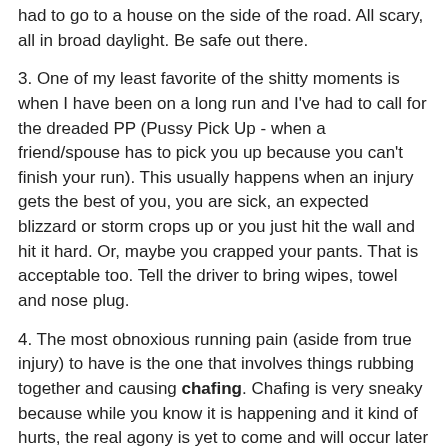had to go to a house on the side of the road. All scary, all in broad daylight. Be safe out there.
3. One of my least favorite of the shitty moments is when I have been on a long run and I've had to call for the dreaded PP (Pussy Pick Up - when a friend/spouse has to pick you up because you can't finish your run). This usually happens when an injury gets the best of you, you are sick, an expected blizzard or storm crops up or you just hit the wall and hit it hard. Or, maybe you crapped your pants. That is acceptable too. Tell the driver to bring wipes, towel and nose plug.
4. The most obnoxious running pain (aside from true injury) to have is the one that involves things rubbing together and causing chafing. Chafing is very sneaky because while you know it is happening and it kind of hurts, the real agony is yet to come and will occur later on when you take a shower and the first bits of soap touch the chafed area. The first time this happened to me I squealed so loud the neighbors called the police. Well, not really, but it was piercing.